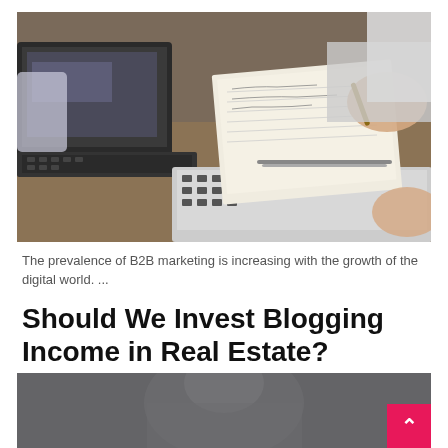[Figure (photo): Photo of two people at a desk with laptops open, one person writing notes on paper, the other pointing with a pen. Business meeting setting.]
The prevalence of B2B marketing is increasing with the growth of the digital world. ...
Should We Invest Blogging Income in Real Estate?
[Figure (photo): Partial photo of a person, partially visible at the bottom of the page.]